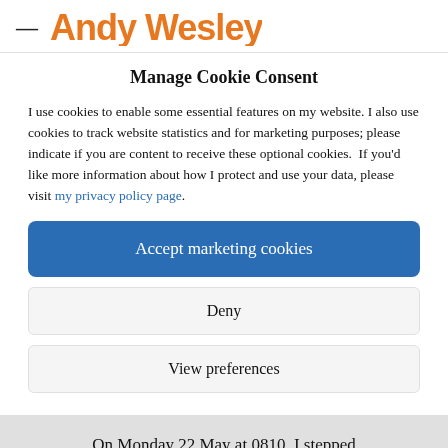— Andy Wesley
Manage Cookie Consent
I use cookies to enable some essential features on my website. I also use cookies to track website statistics and for marketing purposes; please indicate if you are content to receive these optional cookies. If you'd like more information about how I protect and use your data, please visit my privacy policy page.
Accept marketing cookies
Deny
View preferences
On Monday 22 May at 0810, I stepped